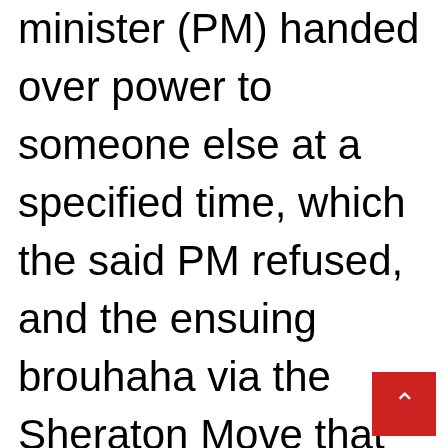minister (PM) handed over power to someone else at a specified time, which the said PM refused, and the ensuing brouhaha via the Sheraton Move that ultimately caused a change in government, all can b